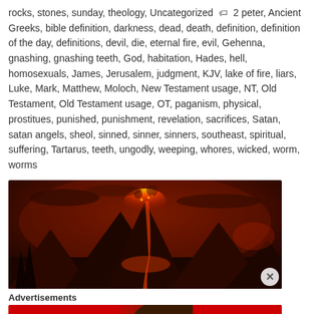rocks, stones, sunday, theology, Uncategorized 🏷 2 peter, Ancient Greeks, bible definition, darkness, dead, death, definition, definition of the day, definitions, devil, die, eternal fire, evil, Gehenna, gnashing, gnashing teeth, God, habitation, Hades, hell, homosexuals, James, Jerusalem, judgment, KJV, lake of fire, liars, Luke, Mark, Matthew, Moloch, New Testament usage, NT, Old Testament, Old Testament usage, OT, paganism, physical, prostitues, punished, punishment, revelation, sacrifices, Satan, satan angels, sheol, sinned, sinner, sinners, southeast, spiritual, suffering, Tartarus, teeth, ungodly, weeping, whores, wicked, worm, worms
[Figure (photo): Dark dramatic volcanic landscape with erupting volcano, glowing lava, and fiery red sky with dark clouds]
Advertisements
[Figure (photo): Advertisement banner for Macy's: KISS BORING LIPS GOODBYE with SHOP NOW button and Macy's logo, featuring a woman's face with red lipstick on a red background]